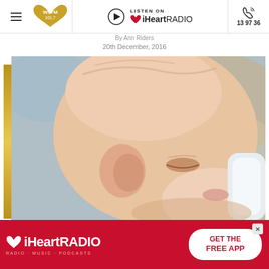WSFM 101.7 | Listen on iHeartRADIO | 13 97 36
20th December, 2016
[Figure (photo): Close-up photo of a newborn baby being breastfed, baby's face visible with eyes closed, soft focus background]
[Figure (infographic): iHeartRADIO advertisement banner: red background with iHeartRADIO logo on the left and 'GET THE FREE APP' call-to-action button on the right]